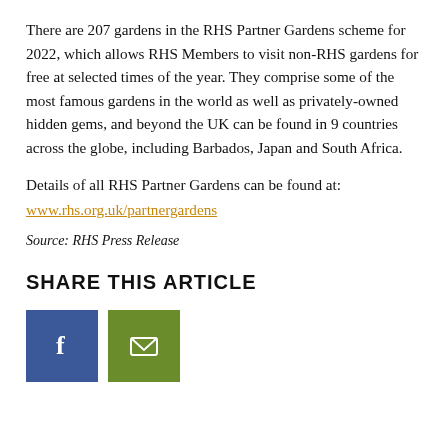There are 207 gardens in the RHS Partner Gardens scheme for 2022, which allows RHS Members to visit non-RHS gardens for free at selected times of the year. They comprise some of the most famous gardens in the world as well as privately-owned hidden gems, and beyond the UK can be found in 9 countries across the globe, including Barbados, Japan and South Africa.
Details of all RHS Partner Gardens can be found at: www.rhs.org.uk/partnergardens
Source: RHS Press Release
SHARE THIS ARTICLE
[Figure (other): Two social sharing buttons: a blue Facebook button with 'f' icon and a green/olive email button with envelope icon]